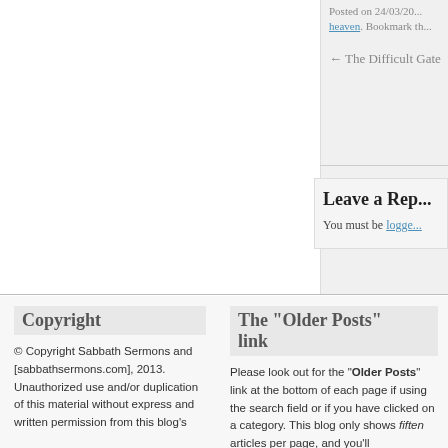Posted on 24/03/20... heaven. Bookmark th...
← The Difficult Gate
Leave a Rep...
You must be logge...
Copyright
© Copyright Sabbath Sermons and [sabbathsermons.com], 2013. Unauthorized use and/or duplication of this material without express and written permission from this blog's
The "Older Posts" link
Please look out for the "Older Posts" link at the bottom of each page if using the search field or if you have clicked on a category. This blog only shows fiften articles per page, and you'll